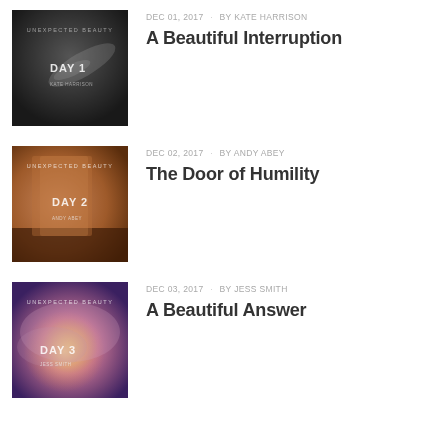[Figure (photo): Book cover image labeled DAY 1 with text UNEXPECTED BEAUTY and KATE HARRISON, showing a dark abstract close-up photo]
DEC 01, 2017 · BY KATE HARRISON
A Beautiful Interruption
[Figure (photo): Book cover image labeled DAY 2 with text UNEXPECTED BEAUTY and ANDY ABEY, showing a warm brown textured photo]
DEC 02, 2017 · BY ANDY ABEY
The Door of Humility
[Figure (photo): Book cover image labeled DAY 3 with text UNEXPECTED BEAUTY and JESS SMITH, showing a purple and pink cloudy sky photo]
DEC 03, 2017 · BY JESS SMITH
A Beautiful Answer